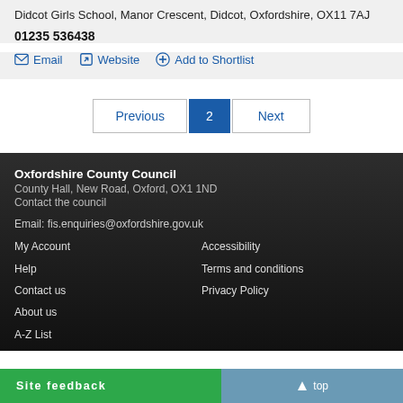Didcot Girls School, Manor Crescent, Didcot, Oxfordshire, OX11 7AJ
01235 536438
Email   Website   Add to Shortlist
Previous  2  Next
Oxfordshire County Council
County Hall, New Road, Oxford, OX1 1ND
Contact the council

Email: fis.enquiries@oxfordshire.gov.uk
My Account   Accessibility
Help   Terms and conditions
Contact us   Privacy Policy
About us
A-Z List
Site feedback
top